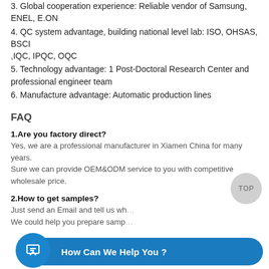3. Global cooperation experience: Reliable vendor of Samsung, ENEL, E.ON
4. QC system advantage, building national level lab: ISO, OHSAS, BSCI ,IQC, IPQC, OQC
5. Technology advantage: 1 Post-Doctoral Research Center and professional engineer team
6. Manufacture advantage: Automatic production lines
FAQ
1.Are you factory direct?
Yes, we are a professional manufacturer in Xiamen China for many years. Sure we can provide OEM&ODM service to you with competitive wholesale price.
2.How to get samples?
Just send an Email and tell us wh... We could help you prepare samp...